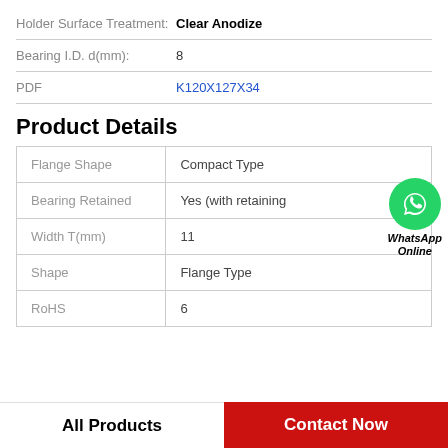Holder Surface Treatment: Clear Anodize
Bearing I.D. d(mm): 8
PDF K120X127X34
Product Details
|  |  |
| --- | --- |
| Flange Shape | Compact Type |
| Bearing Retained | Yes (with retaining |
| Width T(mm) | 11 |
| Shape | Flange Type |
| RoHS | 6 |
All Products   Contact Now